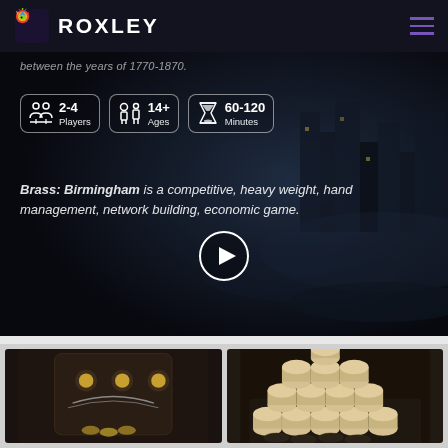[Figure (logo): Roxley Games logo with colorful dragon/bird icon and 'ROXLEY' text in white bold letters]
between the years of 1770-1870.
2-4 Players
14+ Ages
60-120 Minutes
Brass: Birmingham is a competitive, heavy weight, hand management, network building, economic game.
[Figure (illustration): Video play button circle over dark atmospheric city/industrial background]
[Figure (photo): Close-up photo of a dark board game component, appears to be a 3D molded piece with rope/wire details]
[Figure (photo): Close-up photo of wooden game pieces (cylinders) arranged in a pyramid on a dark background with coins]